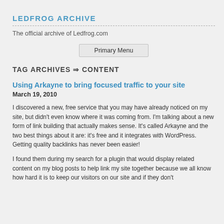LEDFROG ARCHIVE
The official archive of Ledfrog.com
[Figure (other): Primary Menu button]
TAG ARCHIVES ⇒ CONTENT
Using Arkayne to bring focused traffic to your site
March 19, 2010
I discovered a new, free service that you may have already noticed on my site, but didn't even know where it was coming from. I'm talking about a new form of link building that actually makes sense. It's called Arkayne and the two best things about it are: it's free and it integrates with WordPress. Getting quality backlinks has never been easier!
I found them during my search for a plugin that would display related content on my blog posts to help link my site together because we all know how hard it is to keep our visitors on our site and if they don't